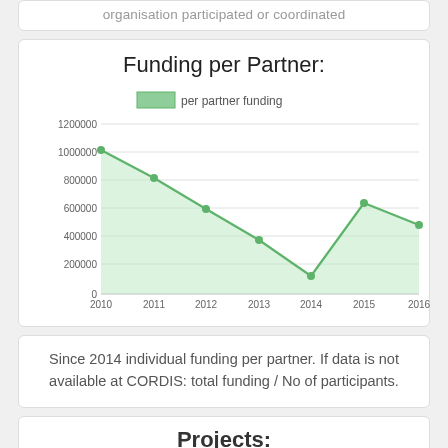organisation participated or coordinated
Funding per Partner:
[Figure (line-chart): Funding per Partner:]
Since 2014 individual funding per partner. If data is not available at CORDIS: total funding / No of participants.
Projects: